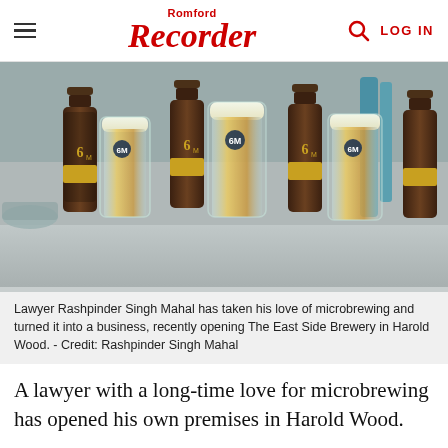Romford Recorder — LOG IN
[Figure (photo): Beer bottles labeled '6M' alternating with pint glasses of golden beer on a stainless steel brewery surface. Bottles have dark labels with gold band at bottom.]
Lawyer Rashpinder Singh Mahal has taken his love of microbrewing and turned it into a business, recently opening The East Side Brewery in Harold Wood. - Credit: Rashpinder Singh Mahal
A lawyer with a long-time love for microbrewing has opened his own premises in Harold Wood.